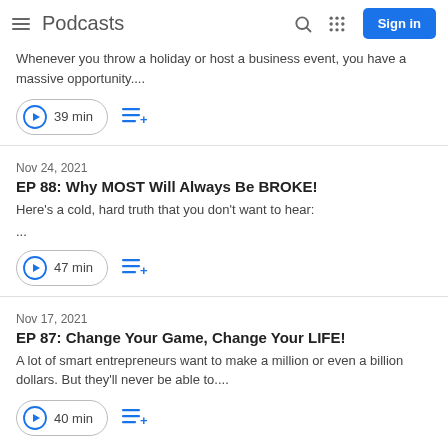Podcasts | Sign in
Whenever you throw a holiday or host a business event, you have a massive opportunity....
39 min
Nov 24, 2021
EP 88: Why MOST Will Always Be BROKE!
Here's a cold, hard truth that you don't want to hear:
...
47 min
Nov 17, 2021
EP 87: Change Your Game, Change Your LIFE!
A lot of smart entrepreneurs want to make a million or even a billion dollars. But they'll never be able to....
40 min